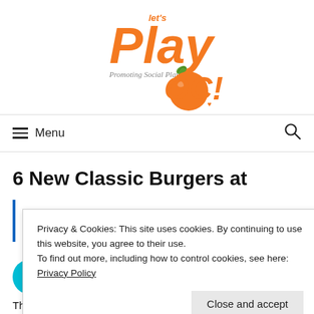[Figure (logo): Let's Play OC! logo — orange stylized text 'Let's Play' with tagline 'PROMOTING SOCIAL PLAY' and an orange fruit with green leaf, text 'OC!' in orange]
≡ Menu
6 New Classic Burgers at
Privacy & Cookies: This site uses cookies. By continuing to use this website, you agree to their use.
To find out more, including how to control cookies, see here: Privacy Policy
Close and accept
The ... Classic Burgers includ...